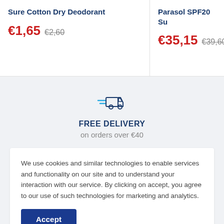Sure Cotton Dry Deodorant
€1,65  €2,60
Parasol SPF20 Su
€35,15  €39,60
[Figure (illustration): Delivery truck icon with speed lines]
FREE DELIVERY
on orders over €40
We use cookies and similar technologies to enable services and functionality on our site and to understand your interaction with our service. By clicking on accept, you agree to our use of such technologies for marketing and analytics.
Accept